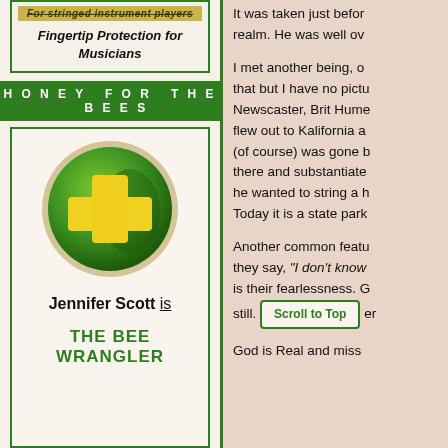For stringed instrument players
Fingertip Protection for Musicians
HONEY FOR THE BEES
[Figure (logo): Green circular logo with yellow plus/cross symbol on dark green background with beige ring border]
Jennifer Scott is
THE BEE WRANGLER
It was taken just before realm. He was well ov
I met another being, o that but I have no pictu Newscaster, Brit Hume flew out to Kalifornia a (of course) was gone b there and substantiate he wanted to string a h Today it is a state park
Another common featu they say, "I don't know is their fearlessness. G still. God is Real and miss
Scroll to Top